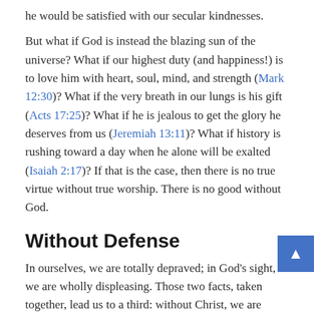he would be satisfied with our secular kindnesses.
But what if God is instead the blazing sun of the universe? What if our highest duty (and happiness!) is to love him with heart, soul, mind, and strength (Mark 12:30)? What if the very breath in our lungs is his gift (Acts 17:25)? What if he is jealous to get the glory he deserves from us (Jeremiah 13:11)? What if history is rushing toward a day when he alone will be exalted (Isaiah 2:17)? If that is the case, then there is no true virtue without true worship. There is no good without God.
Without Defense
In ourselves, we are totally depraved; in God's sight, we are wholly displeasing. Those two facts, taken together, lead us to a third: without Christ, we are hopelessly condemned.